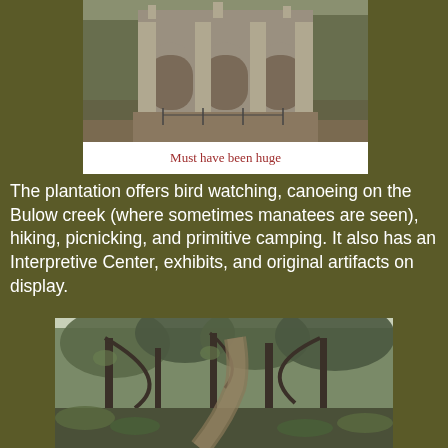[Figure (photo): Ruins of a large plantation building with stone arches and pillars, surrounded by trees]
Must have been huge
The plantation offers bird watching, canoeing on the Bulow creek (where sometimes manatees are seen), hiking, picnicking, and primitive camping. It also has an Interpretive Center, exhibits, and original artifacts on display.
[Figure (photo): A forested trail path surrounded by dense subtropical vegetation including palms, ferns, and draped trees]